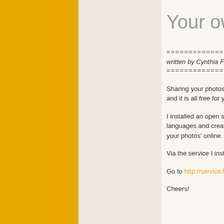[Figure (illustration): Orange/yellow vertical column on the left side of the page]
[Figure (illustration): Cream/beige vertical column in the middle of the page]
Your own fre
=================
written by Cynthia Fridsma
=================
Sharing your photos online w and it is all free for you to use
I installed an open source so languages and creating an o your photos' online.
Via the service I installed you.
Go to http://service.heather
Cheers!
Bring the ele